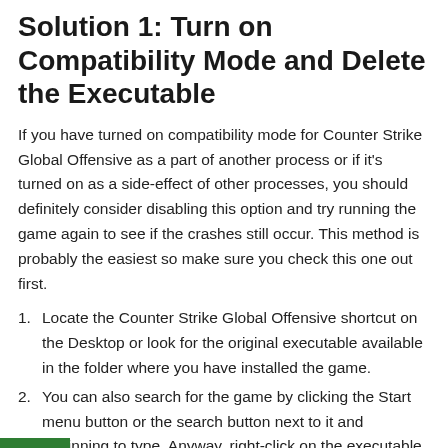Solution 1: Turn on Compatibility Mode and Delete the Executable
If you have turned on compatibility mode for Counter Strike Global Offensive as a part of another process or if it's turned on as a side-effect of other processes, you should definitely consider disabling this option and try running the game again to see if the crashes still occur. This method is probably the easiest so make sure you check this one out first.
Locate the Counter Strike Global Offensive shortcut on the Desktop or look for the original executable available in the folder where you have installed the game.
You can also search for the game by clicking the Start menu button or the search button next to it and beginning to type. Anyway, right-click on the executable and choose the Delete option from the context menu which will appear.